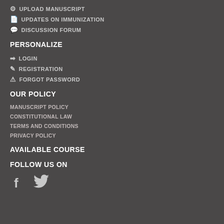UPLOAD MANUSCRIPT
UPDATES ON IMMUNIZATION
DISCUSSION FORUM
PERSONALIZE
LOGIN
REGISTRATION
FORGOT PASSWORD
OUR POLICY
MANUSCRIPT POLICY
CONSTITUTIONAL LAW
TERMS AND CONDITIONS
PRIVACY POLICY
AVAILABLE COURSE
FOLLOW US ON
[Figure (other): Social media icons: Facebook (f) and Twitter (bird) icons in light gray]